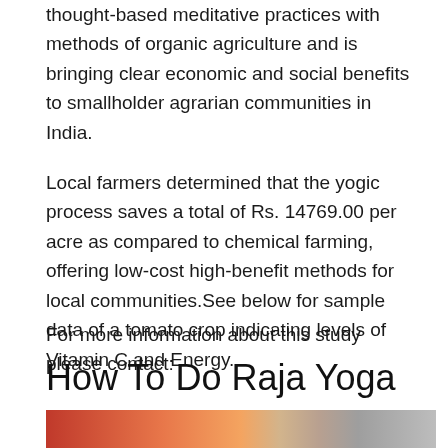thought-based meditative practices with methods of organic agriculture and is bringing clear economic and social benefits to smallholder agrarian communities in India.
Local farmers determined that the yogic process saves a total of Rs. 14769.00 per acre as compared to chemical farming, offering low-cost high-benefit methods for local communities.See below for sample data of a tomato crop indicating levels of Vitamin C and Energy.
For more information about this study please contact:
How To Do Raja Yoga
[Figure (photo): Partial photo of a person in an indoor setting with warm reddish-orange background lighting on the left and a lighter gray wall on the right.]